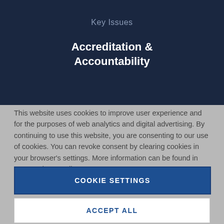Key Issues
Accreditation &
Accountability
This website uses cookies to improve user experience and for the purposes of web analytics and digital advertising. By continuing to use this website, you are consenting to our use of cookies. You can revoke consent by clearing cookies in your browser’s settings. More information can be found in AAU’s privacy policy.
COOKIE SETTINGS
ACCEPT ALL